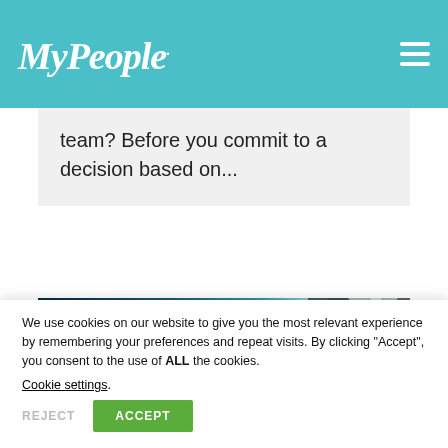MyPeople
team? Before you commit to a decision based on...
[Figure (photo): Dark blue/teal technology background image showing glowing circular interface elements and a suited businessman silhouette on the right]
We use cookies on our website to give you the most relevant experience by remembering your preferences and repeat visits. By clicking "Accept", you consent to the use of ALL the cookies.
Cookie settings.
REJECT   ACCEPT